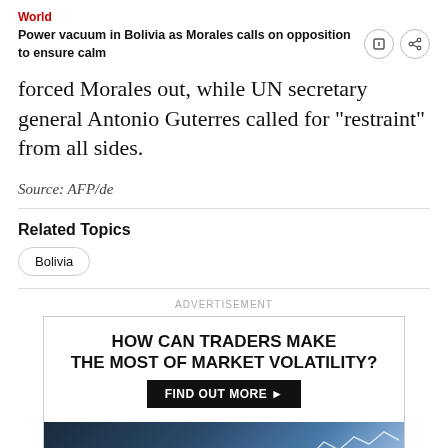World
Power vacuum in Bolivia as Morales calls on opposition to ensure calm
forced Morales out, while UN secretary general Antonio Guterres called for "restraint" from all sides.
Source: AFP/de
Related Topics
Bolivia
ADVERTISEMENT
[Figure (infographic): Advertisement banner: HOW CAN TRADERS MAKE THE MOST OF MARKET VOLATILITY? with FIND OUT MORE button and background financial chart image]